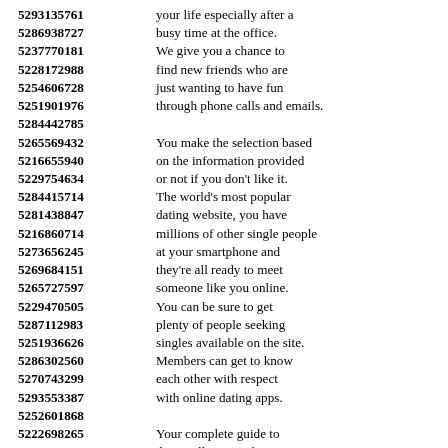5293135761 your life especially after a
5286938727 busy time at the office.
5237770181 We give you a chance to
5228172988 find new friends who are
5254606728 just wanting to have fun
5251901976 through phone calls and emails.
5284442785
5265569432 You make the selection based
5216655940 on the information provided
5229754634 or not if you don't like it.
5284415714 The world's most popular
5281438847 dating website, you have
5216860714 millions of other single people
5273656245 at your smartphone and
5269684151 they're all ready to meet
5265727597 someone like you online.
5229470505 You can be sure to get
5287112983 plenty of people seeking
5251936626 singles available on the site.
5286302560 Members can get to know
5270743299 each other with respect
5293553387 with online dating apps.
5252601868
5222698265 Your complete guide to
5234583428 dating all in one place.